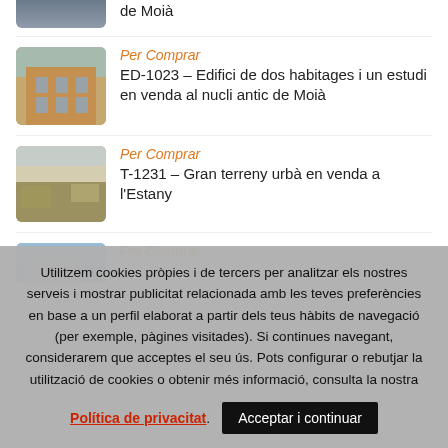[Figure (photo): Partial cropped photo at top of page]
de Moià
[Figure (photo): Photo of a building with balconies]
Per Comprar
ED-1023 – Edifici de dos habitages i un estudi en venda al nucli antic de Moià
[Figure (photo): Photo of a field/terrain]
Per Comprar
T-1231 – Gran terreny urbà en venda a l'Estany
[Figure (photo): Partially visible photo of a building]
Per Comprar
Utilitzem cookies pròpies i de tercers per analitzar els nostres serveis i mostrar publicitat relacionada amb les teves preferències en base a un perfil elaborat a partir dels teus hàbits de navegació (per exemple, pàgines visitades). Si continues navegant, considerarem que acceptes el seu ús. Pots configurar o rebutjar la utilització de cookies o obtenir més informació, consulta la nostra
Política de privacitat
Acceptar i continuar